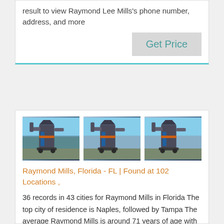result to view Raymond Lee Mills's phone number, address, and more
[Figure (photo): Three identical photos of industrial equipment (mill/grinder machinery) with blue sky background, shown side by side]
Raymond Mills, Florida - FL | Found at 102 Locations ,
36 records in 43 cities for Raymond Mills in Florida The top city of residence is Naples, followed by Tampa The average Raymond Mills is around 71 years of age with around 38% falling in to the age group of 81+ Explore where Raymond Mills may currently live along with possible previous addresses, phone numbers, email addresses, relatives and...